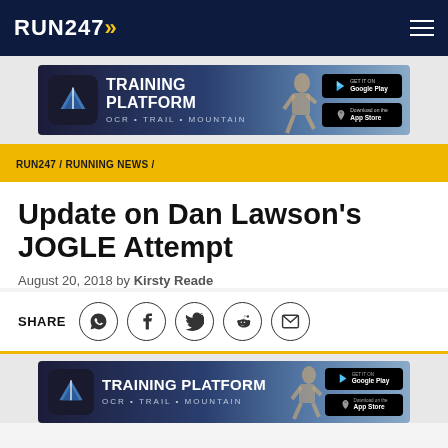RUN247
[Figure (other): ALBON Training Platform advertisement banner: OCR • TRAIL • MOUNTAIN, with Google Play and App Store buttons]
RUN247 / RUNNING NEWS /
Update on Dan Lawson's JOGLE Attempt
August 20, 2018 by Kirsty Reade
SHARE [WhatsApp] [Facebook] [Twitter] [Reddit] [Email]
[Figure (other): ALBON Training Platform advertisement banner (bottom): OCR • TRAIL • MOUNTAIN, with Google Play and App Store buttons]